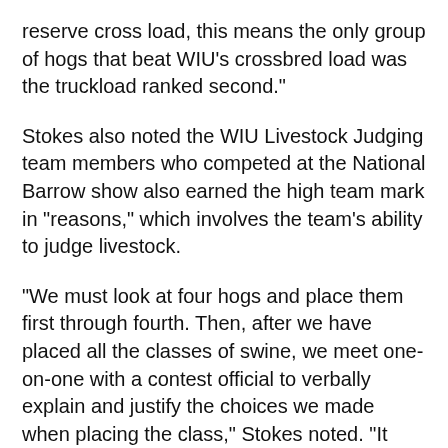reserve cross load, this means the only group of hogs that beat WIU's crossbred load was the truckload ranked second."
Stokes also noted the WIU Livestock Judging team members who competed at the National Barrow show also earned the high team mark in "reasons," which involves the team's ability to judge livestock.
"We must look at four hogs and place them first through fourth. Then, after we have placed all the classes of swine, we meet one-on-one with a contest official to verbally explain and justify the choices we made when placing the class," Stokes noted. "It gives us the opportunity to explain how we placed the class, why we placed the class the way we did, as well as describe the swine that were in that class. This is a highly competitive sport that encourages teamwork, personal growth, hard work, dedication and public speaking skills."